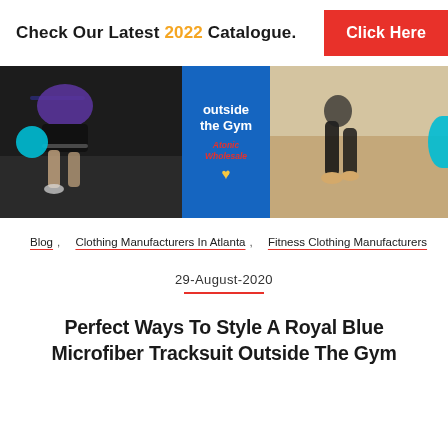Check Our Latest 2022 Catalogue. Click Here
[Figure (photo): Banner image showing runners in athletic wear, with a blue center panel reading 'outside the Gym' with 'Atonic Wholesale' branding and a yellow heart icon. Cyan circles on the sides.]
Blog , Clothing Manufacturers In Atlanta , Fitness Clothing Manufacturers
29-August-2020
Perfect Ways To Style A Royal Blue Microfiber Tracksuit Outside The Gym